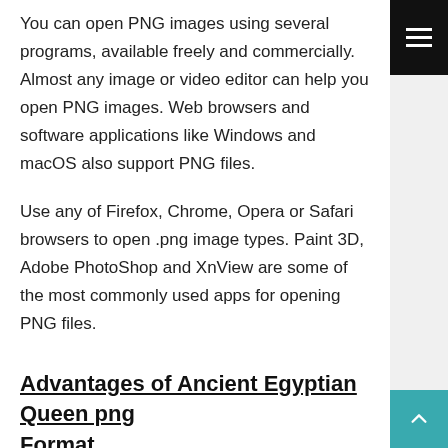You can open PNG images using several programs, available freely and commercially. Almost any image or video editor can help you open PNG images. Web browsers and software applications like Windows and macOS also support PNG files.
Use any of Firefox, Chrome, Opera or Safari browsers to open .png image types. Paint 3D, Adobe PhotoShop and XnView are some of the most commonly used apps for opening PNG files.
Advantages of Ancient Egyptian Queen png Format...